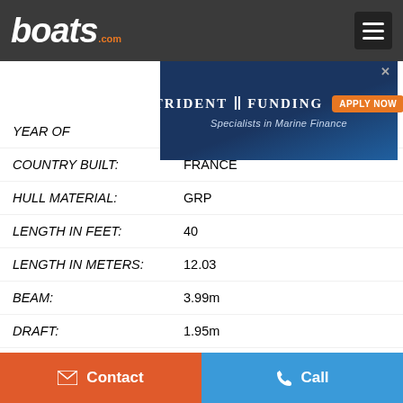boats.com
[Figure (screenshot): Trident Funding advertisement banner — 'Specialists in Marine Finance' with Apply Now button and boat image]
YEAR OF [partially obscured]
COUNTRY BUILT:   FRANCE
HULL MATERIAL:   GRP
LENGTH IN FEET:   40
LENGTH IN METERS:   12.03
BEAM:   3.99m
DRAFT:   1.95m
DISPLACEMENT:   7700kg (2100kg ballast)
CABINS:   3 + Saloon (partially visible)